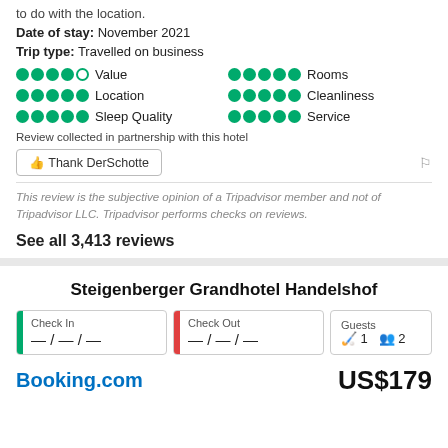to do with the location.
Date of stay: November 2021
Trip type: Travelled on business
[Figure (infographic): Rating dots grid showing Value (4.5/5), Location (5/5), Sleep Quality (5/5), Rooms (5/5), Cleanliness (5/5), Service (5/5) in green circles]
Review collected in partnership with this hotel
👍 Thank DerSchotte
This review is the subjective opinion of a Tripadvisor member and not of Tripadvisor LLC. Tripadvisor performs checks on reviews.
See all 3,413 reviews
Steigenberger Grandhotel Handelshof
Check In — / — / —
Check Out — / — / —
Guests 1 2
Booking.com
US$179